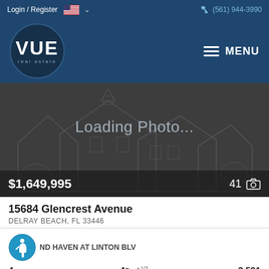Login / Register  (561) 944-3990
[Figure (logo): VUE real estate logo in dark circle on navy header with MENU button]
[Figure (photo): Loading Photo... placeholder with house outline silhouette on dark background, showing price $1,649,995 and 41 photos]
15684 Glencrest Avenue
DELRAY BEACH, FL 33446
ND HAVEN AT LINTON BLV
4   4F  1 1/2   3,591